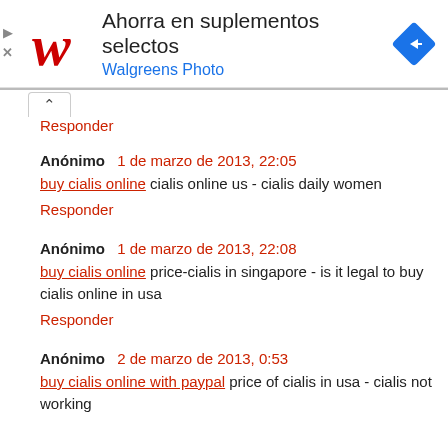[Figure (screenshot): Walgreens advertisement banner with red cursive W logo, text 'Ahorra en suplementos selectos' and 'Walgreens Photo' in blue, and a blue diamond navigation icon on the right.]
Responder
Anónimo  1 de marzo de 2013, 22:05
buy cialis online cialis online us - cialis daily women
Responder
Anónimo  1 de marzo de 2013, 22:08
buy cialis online price-cialis in singapore - is it legal to buy cialis online in usa
Responder
Anónimo  2 de marzo de 2013, 0:53
buy cialis online with paypal price of cialis in usa - cialis not working